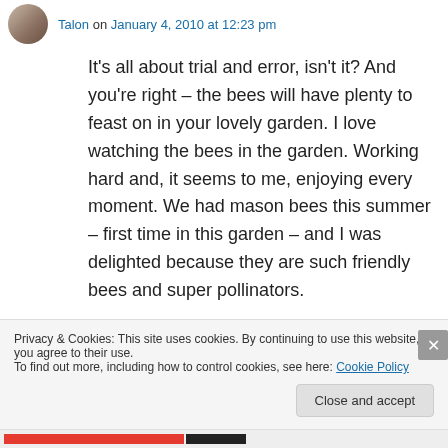Talon on January 4, 2010 at 12:23 pm
It's all about trial and error, isn't it? And you're right – the bees will have plenty to feast on in your lovely garden. I love watching the bees in the garden. Working hard and, it seems to me, enjoying every moment. We had mason bees this summer – first time in this garden – and I was delighted because they are such friendly bees and super pollinators.
↳ Reply
Privacy & Cookies: This site uses cookies. By continuing to use this website, you agree to their use.
To find out more, including how to control cookies, see here: Cookie Policy
Close and accept